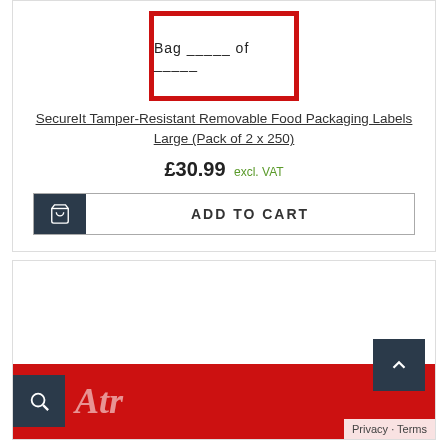[Figure (illustration): Product label preview showing red border with text 'Bag ___ of ___']
SecureIt Tamper-Resistant Removable Food Packaging Labels Large (Pack of 2 x 250)
£30.99 excl. VAT
ADD TO CART
[Figure (photo): Bottom portion of second product card showing red banner with white cursive text and dark icon box with magnifier icon]